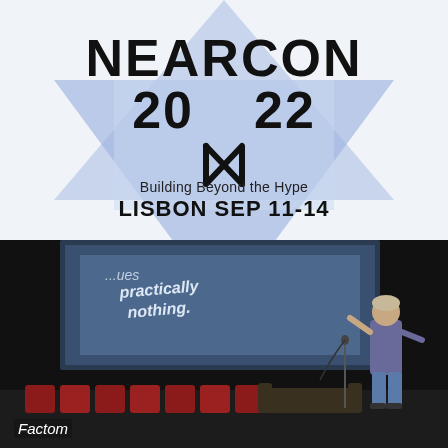[Figure (logo): NEARCON 2022 event logo with blue diamond/arrow shape background, NEAR protocol logo symbol, text 'Building Beyond the Hype' and 'LISBON SEP 11-14']
[Figure (photo): Conference stage photo showing a speaker standing with back to audience facing a large projection screen displaying text 'practically nothing.' with red chairs on stage and dark auditorium]
Factom